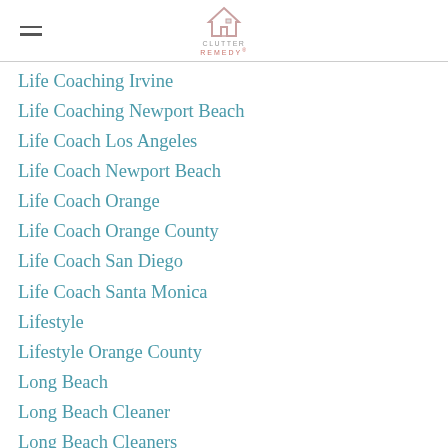Clutter Remedy
Life Coaching Irvine
Life Coaching Newport Beach
Life Coach Los Angeles
Life Coach Newport Beach
Life Coach Orange
Life Coach Orange County
Life Coach San Diego
Life Coach Santa Monica
Lifestyle
Lifestyle Orange County
Long Beach
Long Beach Cleaner
Long Beach Cleaners
Long Beach Home Organizer
Long Beach House Cleaners
Long Beach Housekeeper
Long Beach House Organizer
Long Beach Maid...